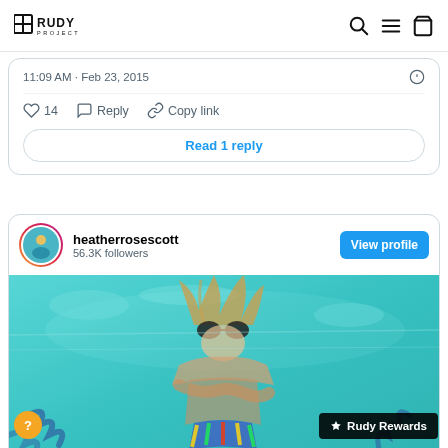RUDY PROJECT
11:09 AM · Feb 23, 2015
♡ 14   Reply   Copy link
Read 1 reply
heatherrosescott
56.3K followers
[Figure (photo): Underwater photo of a person swimming in a turquoise pool, viewed from below, wearing goggles and a colorful swimsuit]
Rudy Rewards